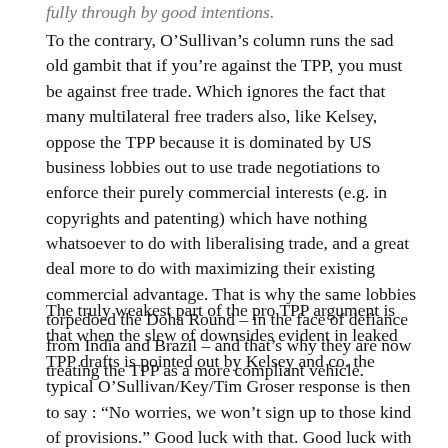fully through by good intentions.
To the contrary, O’Sullivan’s column runs the sad old gambit that if you’re against the TPP, you must be against free trade. Which ignores the fact that many multilateral free traders also, like Kelsey, oppose the TPP because it is dominated by US business lobbies out to use trade negotiations to enforce their purely commercial interests (e.g. in copyrights and patenting) which have nothing whatsoever to do with liberalising trade, and a great deal more to do with maximizing their existing commercial advantage. That is why the same lobbies torpedoed the Doha Round – in the face of defiance from India and Brazil – and that’s why they are now treating the TPP as a more compliant vehicle.
The truly weakest part of the pro TPP argument is that when the slew of downsides evident in leaked TPP drafts is pointed out by Kelsey and co. the typical O’Sullivan/Key/Tim Groser response is then to say : “No worries, we won’t sign up to those kind of provisions.” Good luck with that. Good luck with getting what you want, without conceding what you don’t